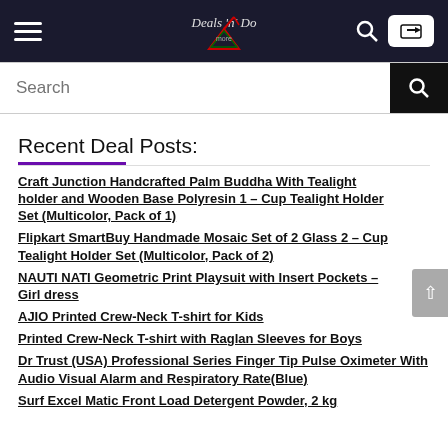Navigation bar with hamburger menu, Deals 'n' Do logo, search icon, and login button
Search
Recent Deal Posts:
Craft Junction Handcrafted Palm Buddha With Tealight holder and Wooden Base Polyresin 1 – Cup Tealight Holder Set (Multicolor, Pack of 1)
Flipkart SmartBuy Handmade Mosaic Set of 2 Glass 2 – Cup Tealight Holder Set (Multicolor, Pack of 2)
NAUTI NATI Geometric Print Playsuit with Insert Pockets – Girl dress
AJIO Printed Crew-Neck T-shirt for Kids
Printed Crew-Neck T-shirt with Raglan Sleeves for Boys
Dr Trust (USA) Professional Series Finger Tip Pulse Oximeter With Audio Visual Alarm and Respiratory Rate(Blue)
Surf Excel Matic Front Load Detergent Powder, 2 kg